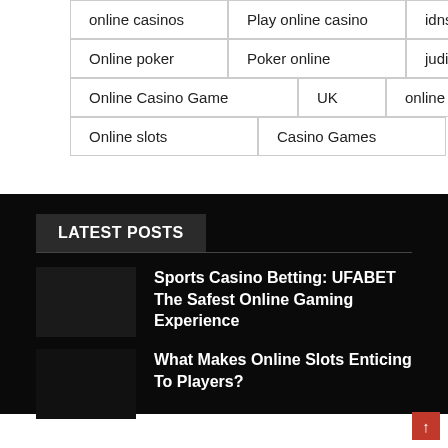online casinos
Play online casino
idnsport
Online poker
Poker online
judi slot online
Online Casino Game
UK
online casino games
Online slots
Casino Games
LATEST POSTS
Sports Casino Betting: UFABET The Safest Online Gaming Experience
What Makes Online Slots Enticing To Players?